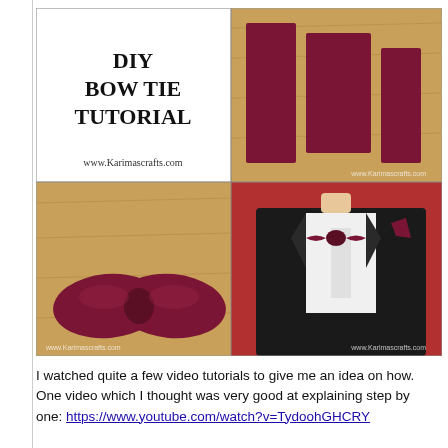[Figure (photo): DIY Bow Tie Tutorial collage image from www.Karimascrafts.com showing four panels: top-left has text 'DIY BOW TIE TUTORIAL www.Karimascrafts.com', top-right shows fabric pieces on wooden surface, bottom-left shows finished burgundy bow tie on wooden surface, bottom-right shows person wearing black tuxedo with burgundy bow tie and pocket square.]
I watched quite a few video tutorials to give me an idea on how. One video which I thought was very good at explaining step by one: https://www.youtube.com/watch?v=TydoohGHCRY